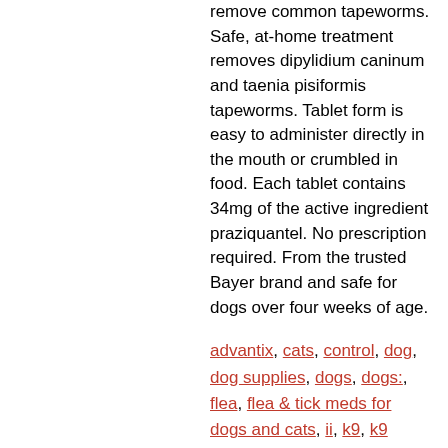remove common tapeworms. Safe, at-home treatment removes dipylidium caninum and taenia pisiformis tapeworms. Tablet form is easy to administer directly in the mouth or crumbled in food. Each tablet contains 34mg of the active ingredient praziquantel. No prescription required. From the trusted Bayer brand and safe for dogs over four weeks of age.
advantix, cats, control, dog, dog supplies, dogs, dogs:, flea, flea & tick meds for dogs and cats, ii, k9, k9 advantix ii for